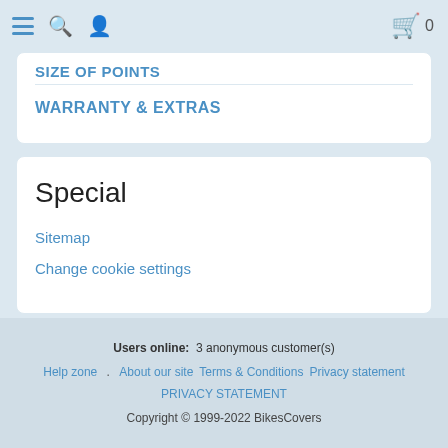≡ 🔍 👤  🛍 0
SIZE OF POINTS
WARRANTY & EXTRAS
Special
Sitemap
Change cookie settings
Users online: 3 anonymous customer(s)
Help zone . About our site Terms & Conditions Privacy statement
PRIVACY STATEMENT
Copyright © 1999-2022 BikesCovers